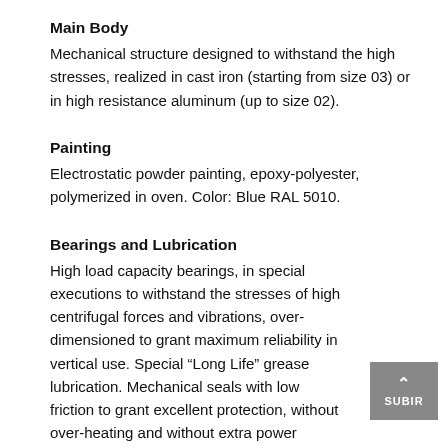Main Body
Mechanical structure designed to withstand the high stresses, realized in cast iron (starting from size 03) or in high resistance aluminum (up to size 02).
Painting
Electrostatic powder painting, epoxy-polyester, polymerized in oven. Color: Blue RAL 5010.
Bearings and Lubrication
High load capacity bearings, in special executions to withstand the stresses of high centrifugal forces and vibrations, over-dimensioned to grant maximum reliability in vertical use. Special “Long Life” grease lubrication. Mechanical seals with low friction to grant excellent protection, without over-heating and without extra power absorption, keeping their efficiency for long time. Some models as a